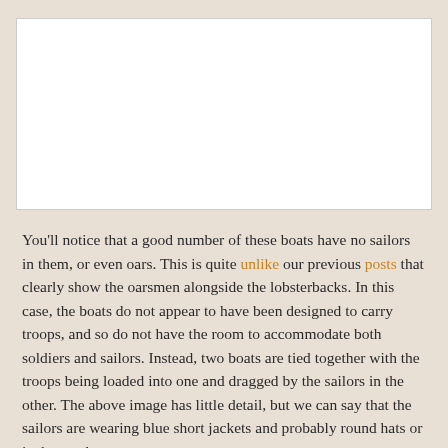[Figure (photo): White rectangular image placeholder area representing a historical illustration or photograph of boats.]
You'll notice that a good number of these boats have no sailors in them, or even oars. This is quite unlike our previous posts that clearly show the oarsmen alongside the lobsterbacks. In this case, the boats do not appear to have been designed to carry troops, and so do not have the room to accommodate both soldiers and sailors. Instead, two boats are tied together with the troops being loaded into one and dragged by the sailors in the other. The above image has little detail, but we can say that the sailors are wearing blue short jackets and probably round hats or jockey style caps.